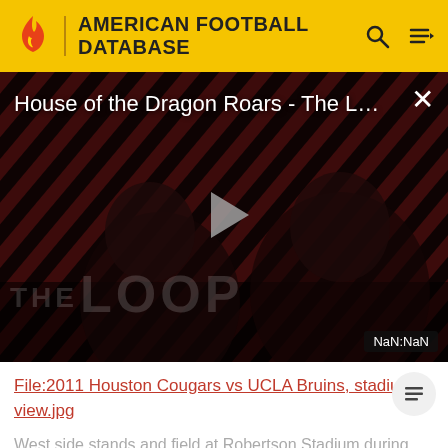AMERICAN FOOTBALL DATABASE
[Figure (screenshot): Video player showing 'House of the Dragon Roars - The L...' with a play button overlay, diagonal red and dark stripe background, silhouettes of people, 'THE LOOP' text watermark, and NaN:NaN timestamp badge]
File:2011 Houston Cougars vs UCLA Bruins, stadium view.jpg
West side stands and field at Robertson Stadium during gameplay